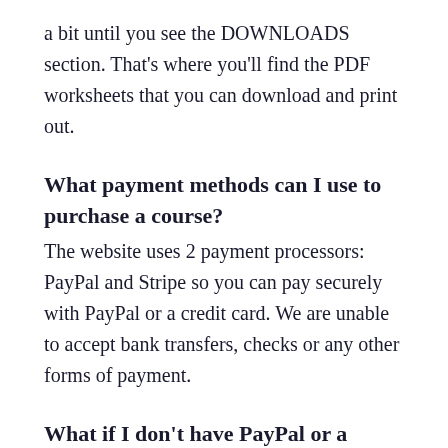a bit until you see the DOWNLOADS section. That's where you'll find the PDF worksheets that you can download and print out.
What payment methods can I use to purchase a course?
The website uses 2 payment processors: PayPal and Stripe so you can pay securely with PayPal or a credit card. We are unable to accept bank transfers, checks or any other forms of payment.
What if I don't have PayPal or a credit